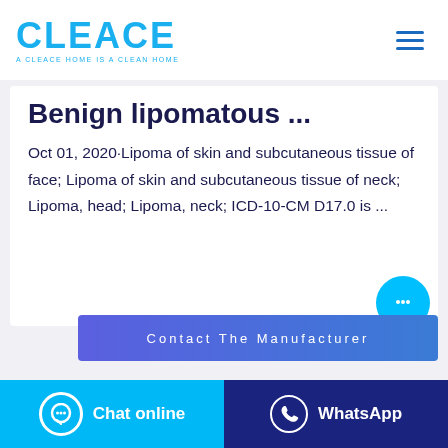CLEACE — A CLEACE HOME IS A CLEAN HOME
Benign lipomatous ...
Oct 01, 2020·Lipoma of skin and subcutaneous tissue of face; Lipoma of skin and subcutaneous tissue of neck; Lipoma, head; Lipoma, neck; ICD-10-CM D17.0 is ...
Contact The Manufacturer
Chat online
WhatsApp